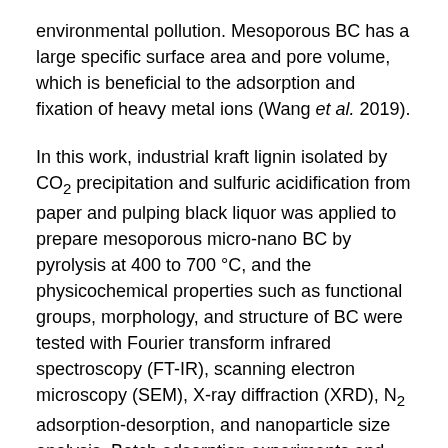environmental pollution. Mesoporous BC has a large specific surface area and pore volume, which is beneficial to the adsorption and fixation of heavy metal ions (Wang et al. 2019).
In this work, industrial kraft lignin isolated by CO2 precipitation and sulfuric acidification from paper and pulping black liquor was applied to prepare mesoporous micro-nano BC by pyrolysis at 400 to 700 °C, and the physicochemical properties such as functional groups, morphology, and structure of BC were tested with Fourier transform infrared spectroscopy (FT-IR), scanning electron microscopy (SEM), X-ray diffraction (XRD), N2 adsorption-desorption, and nanoparticle size analysis. Batch adsorption experiments and the effect of solution pH and BC dosage were investigated. Adsorption isotherm and kinetics were applied to reveal the